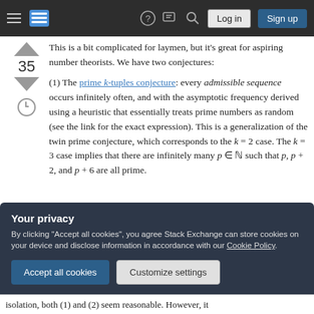[Figure (screenshot): Stack Exchange navigation bar with hamburger menu, logo, help, chat, search icons, and Log in / Sign up buttons on dark background]
This is a bit complicated for laymen, but it's great for aspiring number theorists. We have two conjectures:
(1) The prime k-tuples conjecture: every admissible sequence occurs infinitely often, and with the asymptotic frequency derived using a heuristic that essentially treats prime numbers as random (see the link for the exact expression). This is a generalization of the twin prime conjecture, which corresponds to the k = 2 case. The k = 3 case implies that there are infinitely many p ∈ ℕ such that p, p + 2, and p + 6 are all prime.
Your privacy
By clicking "Accept all cookies", you agree Stack Exchange can store cookies on your device and disclose information in accordance with our Cookie Policy.
[Accept all cookies] [Customize settings]
isolation, both (1) and (2) seem reasonable. However, it